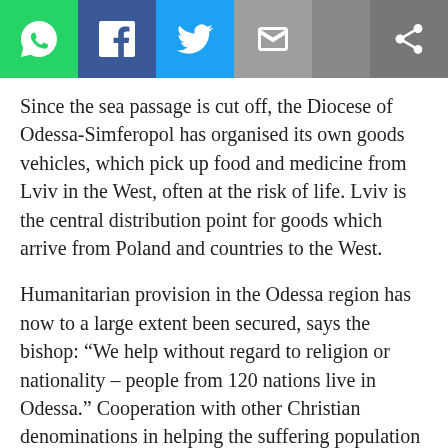[Social share toolbar: WhatsApp, Facebook, Twitter, Email, Share]
Since the sea passage is cut off, the Diocese of Odessa-Simferopol has organised its own goods vehicles, which pick up food and medicine from Lviv in the West, often at the risk of life. Lviv is the central distribution point for goods which arrive from Poland and countries to the West.
Humanitarian provision in the Odessa region has now to a large extent been secured, says the bishop: “We help without regard to religion or nationality – people from 120 nations live in Odessa.” Cooperation with other Christian denominations in helping the suffering population is going very well, including with the Ukrainian Orthodox Churches and the Protestants.
ACN is also an important support. Not only was the